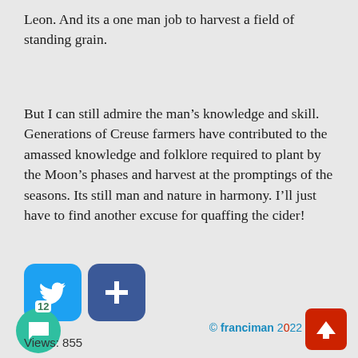Leon. And its a one man job to harvest a field of standing grain.
But I can still admire the man’s knowledge and skill. Generations of Creuse farmers have contributed to the amassed knowledge and folklore required to plant by the Moon’s phases and harvest at the promptings of the seasons. Its still man and nature in harmony. I’ll just have to find another excuse for quaffing the cider!
[Figure (logo): Twitter bird icon (white on blue rounded square)]
[Figure (logo): Plus sign icon (white on dark blue rounded square)]
[Figure (logo): Comment bubble icon (white speech bubble on teal circle) with badge showing 12]
Views: 855
© franciman 2022